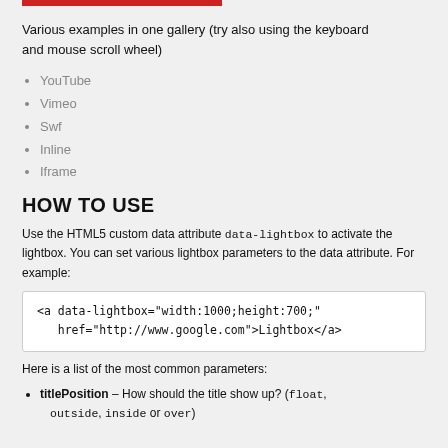[Figure (other): Red horizontal bar at top of content area]
Various examples in one gallery (try also using the keyboard and mouse scroll wheel)
YouTube
Vimeo
Swf
Inline
Iframe
HOW TO USE
Use the HTML5 custom data attribute data-lightbox to activate the lightbox. You can set various lightbox parameters to the data attribute. For example:
<a data-lightbox="width:1000;height:700;"
href="http://www.google.com">Lightbox</a>
Here is a list of the most common parameters:
titlePosition – How should the title show up? (float, outside, inside or over)